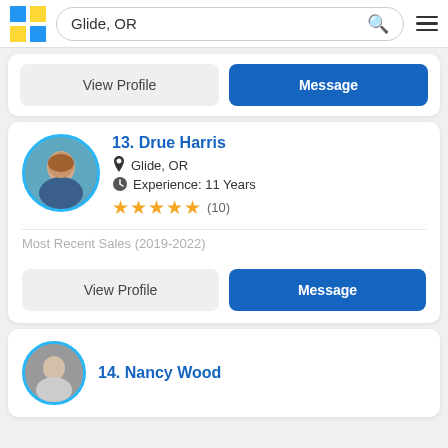Glide, OR
[Figure (screenshot): View Profile and Message buttons for previous listing]
13. Drue Harris
Glide, OR
Experience: 11 Years
★★★★½ (10)
Most Recent Sales (2019-2022)
[Figure (photo): Circular profile photo of Drue Harris]
View Profile | Message
14. Nancy Wood